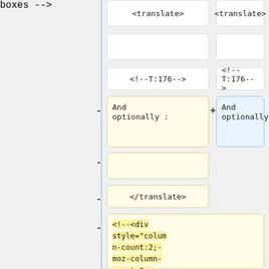[Figure (screenshot): Diff view showing two columns of code/text boxes. Left column has boxes with <translate>, empty box, <!--T:176-->, 'And optionally :' (yellow), empty (yellow), </translate> (yellow), and a large yellow box with <!--<div style=column-count:2;-moz-column-count:2;-webkit-column-count:2">-->. Right column has <translate>, empty, <!--T:176-->, 'And optionally:' (blue highlighted). Minus signs on left, plus sign on right. A blue vertical line separates left gray area from right content.]